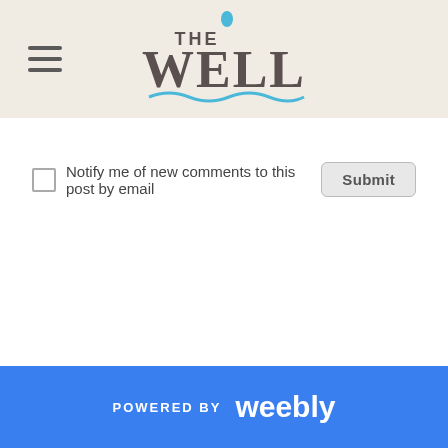THE WELL
Notify me of new comments to this post by email
POWERED BY weebly